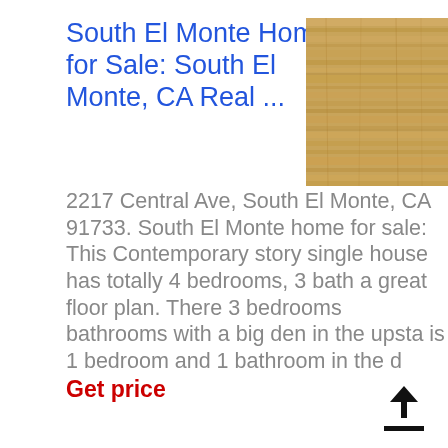South El Monte Homes for Sale: South El Monte, CA Real ...
[Figure (photo): Photograph of wood/bamboo flooring texture, warm golden-brown tones]
2217 Central Ave, South El Monte, CA 91733. South El Monte home for sale: This Contemporary story single house has totally 4 bedrooms, 3 bath a great floor plan. There 3 bedrooms bathrooms with a big den in the upsta is 1 bedroom and 1 bathroom in the d
Get price